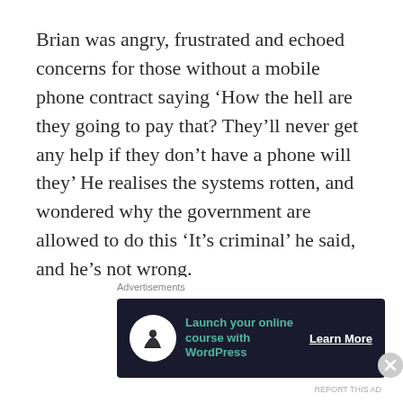Brian was angry, frustrated and echoed concerns for those without a mobile phone contract saying ‘How the hell are they going to pay that? They’ll never get any help if they don’t have a phone will they’ He realises the systems rotten, and wondered why the government are allowed to do this ‘It’s criminal’ he said, and he’s not wrong.
Jack, a local councillor  represented a claimant whilst they had an appointment this helped
Advertisements
[Figure (other): Advertisement banner: dark navy background with white circle icon showing a tree/person symbol. Teal text reads 'Launch your online course with WordPress'. White underlined text button reads 'Learn More'.]